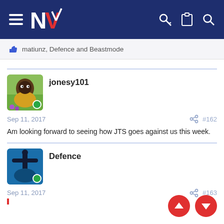NZ Warriors forum navigation bar
matiunz, Defence and Beastmode
jonesy101
Sep 11, 2017   #162
Am looking forward to seeing how JTS goes against us this week.
Defence
Sep 11, 2017   #163